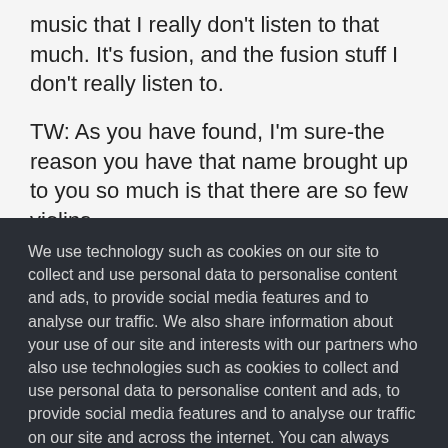music that I really don’t listen to that much. It’s fusion, and the fusion stuff I don’t really listen to.
TW: As you have found, I’m sure-the reason you have that name brought up to you so much is that there are so few violins . . .
We use technology such as cookies on our site to collect and use personal data to personalise content and ads, to provide social media features and to analyse our traffic. We also share information about your use of our site and interests with our partners who also use technologies such as cookies to collect and use personal data to personalise content and ads, to provide social media features and to analyse our traffic on our site and across the internet. You can always change your mind and revisit your choices.
Manage Options
I Accept